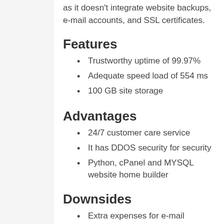as it doesn't integrate website backups, e-mail accounts, and SSL certificates.
Features
Trustworthy uptime of 99.97%
Adequate speed load of 554 ms
100 GB site storage
Advantages
24/7 customer care service
It has DDOS security for security
Python, cPanel and MYSQL website home builder
Downsides
Extra expenses for e-mail